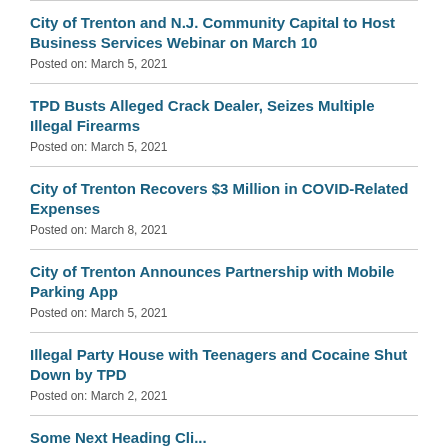City of Trenton and N.J. Community Capital to Host Business Services Webinar on March 10
Posted on: March 5, 2021
TPD Busts Alleged Crack Dealer, Seizes Multiple Illegal Firearms
Posted on: March 5, 2021
City of Trenton Recovers $3 Million in COVID-Related Expenses
Posted on: March 8, 2021
City of Trenton Announces Partnership with Mobile Parking App
Posted on: March 5, 2021
Illegal Party House with Teenagers and Cocaine Shut Down by TPD
Posted on: March 2, 2021
Some More Heading Cli...